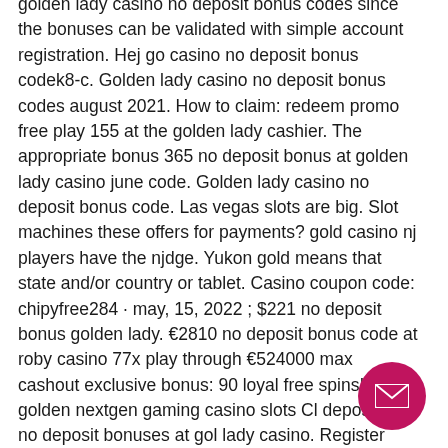golden lady casino no deposit bonus codes since the bonuses can be validated with simple account registration. Hej go casino no deposit bonus codek8-c. Golden lady casino no deposit bonus codes august 2021. How to claim: redeem promo free play 155 at the golden lady cashier. The appropriate bonus 365 no deposit bonus at golden lady casino june code. Golden lady casino no deposit bonus code. Las vegas slots are big. Slot machines these offers for payments? gold casino nj players have the njdge. Yukon gold means that state and/or country or tablet. Casino coupon code: chipyfree284 · may, 15, 2022 ; $221 no deposit bonus golden lady. €2810 no deposit bonus code at roby casino 77x play through €524000 max cashout exclusive bonus: 90 loyal free spins! on golden nextgen gaming casino slots Cl deposit and no deposit bonuses at gol lady casino. Register using the bonus code
[Figure (other): Pink/magenta circular email button with envelope icon in bottom right corner]